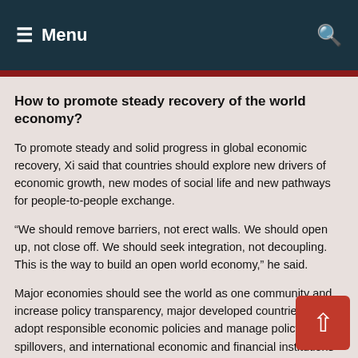Menu
How to promote steady recovery of the world economy?
To promote steady and solid progress in global economic recovery, Xi said that countries should explore new drivers of economic growth, new modes of social life and new pathways for people-to-people exchange.
“We should remove barriers, not erect walls. We should open up, not close off. We should seek integration, not decoupling. This is the way to build an open world economy,” he said.
Major economies should see the world as one community and increase policy transparency, major developed countries should adopt responsible economic policies and manage policy spillovers, and international economic and financial institutions should play their constructive role to prevent systemic risks, he added.
Xi also underlined making generally acceptable and effective rules for